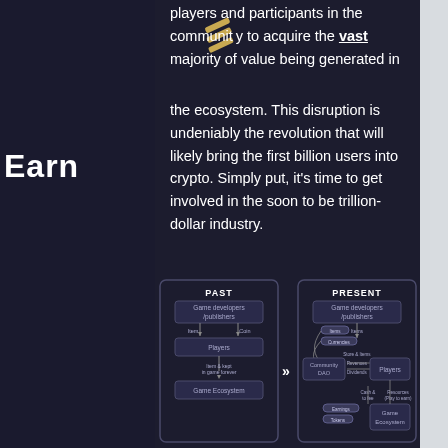players and participants in the community to acquire the vast majority of value being generated in the ecosystem. This disruption is undeniably the revolution that will likely bring the first billion users into crypto. Simply put, it's time to get involved in the soon to be trillion-dollar industry.
Earn
[Figure (flowchart): Two-panel diagram comparing PAST and PRESENT game ecosystem flows. PAST: Game developers/publishers → Items and Coins → Players → Items are kept in game forever → Game Ecosystem. PRESENT: Game developers/publishers → Items → Community DAO (with Store & Items, Revenues, Dividends flows) → Players → Game Ecosystem, with Cash & Fees and Resources (Play to earn) flows.]